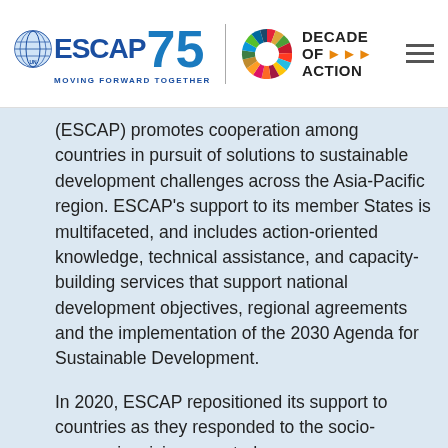[Figure (logo): ESCAP 75 logo with UN globe icon and 'Moving Forward Together' tagline, vertical divider, SDG color wheel 'Decade of Action' logo, and hamburger menu icon]
(ESCAP) promotes cooperation among countries in pursuit of solutions to sustainable development challenges across the Asia-Pacific region. ESCAP's support to its member States is multifaceted, and includes action-oriented knowledge, technical assistance, and capacity-building services that support national development objectives, regional agreements and the implementation of the 2030 Agenda for Sustainable Development.
In 2020, ESCAP repositioned its support to countries as they responded to the socio-economic crisis presented